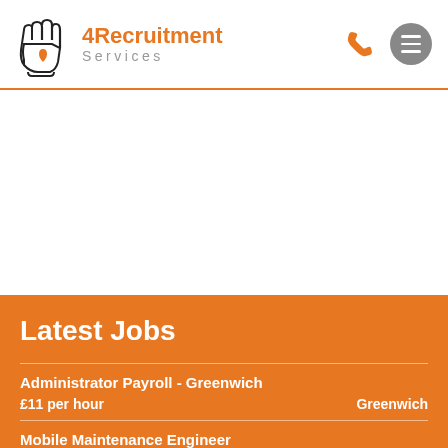[Figure (logo): 4Recruitment Services logo with hand/heart icon and orange text]
Latest Jobs
Administrator Payroll - Greenwich | £11 per hour | Greenwich
Mobile Maintenance Engineer